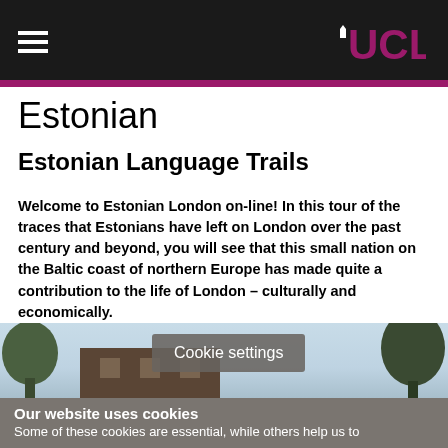UCL
Estonian
Estonian Language Trails
Welcome to Estonian London on-line! In this tour of the traces that Estonians have left on London over the past century and beyond, you will see that this small nation on the Baltic coast of northern Europe has made quite a contribution to the life of London – culturally and economically.
[Figure (photo): Photograph of a building with trees, partially obscured by cookie settings overlay]
Cookie settings
Our website uses cookies
Some of these cookies are essential, while others help us to